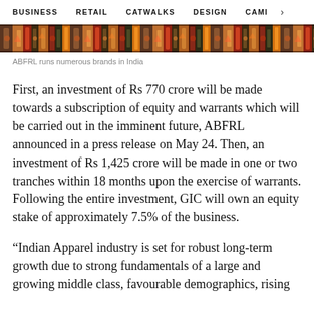BUSINESS   RETAIL   CATWALKS   DESIGN   CAMI   >
[Figure (photo): Decorative patterned fabric/textile image strip showing colorful Indian prints in red, orange, brown, and black tones]
ABFRL runs numerous brands in India
First, an investment of Rs 770 crore will be made towards a subscription of equity and warrants which will be carried out in the imminent future, ABFRL announced in a press release on May 24. Then, an investment of Rs 1,425 crore will be made in one or two tranches within 18 months upon the exercise of warrants. Following the entire investment, GIC will own an equity stake of approximately 7.5% of the business.
“Indian Apparel industry is set for robust long-term growth due to strong fundamentals of a large and growing middle class, favourable demographics, rising